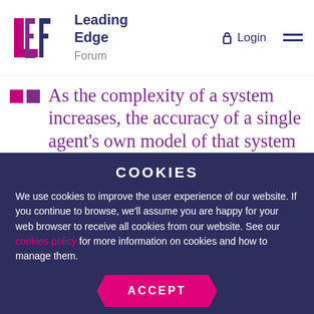Leading Edge Forum — Login
As the complexity of a system increases, the accuracy of a single agent's own model of that system decreases rapidly. – D.D. Woods6
The bigger the company, the less consistent the
COOKIES
We use cookies to improve the user experience of our website. If you continue to browse, we'll assume you are happy for your web browser to receive all cookies from our website. See our cookies policy for more information on cookies and how to manage them.
ACCEPT